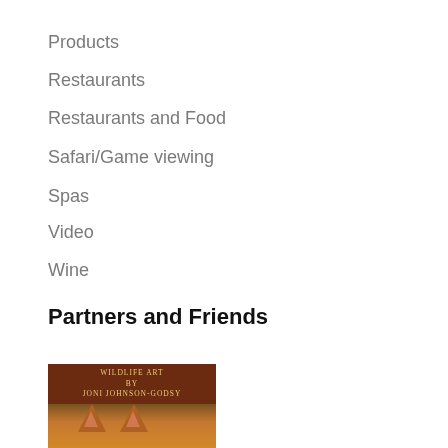Products
Restaurants
Restaurants and Food
Safari/Game viewing
Spas
Video
Wine
Partners and Friends
[Figure (illustration): Book cover for 'Wildlife Art by Joni Johnson-Godsy' with a dark brown top panel with gold text and a fox image on the bottom portion.]